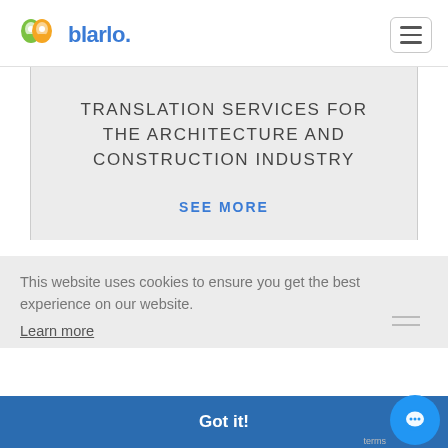[Figure (logo): Blarlo logo with two overlapping map pin icons in green and orange, followed by the text 'blarlo.' in blue bold font]
TRANSLATION SERVICES FOR THE ARCHITECTURE AND CONSTRUCTION INDUSTRY
SEE MORE
This website uses cookies to ensure you get the best experience on our website.
Learn more
Got it!